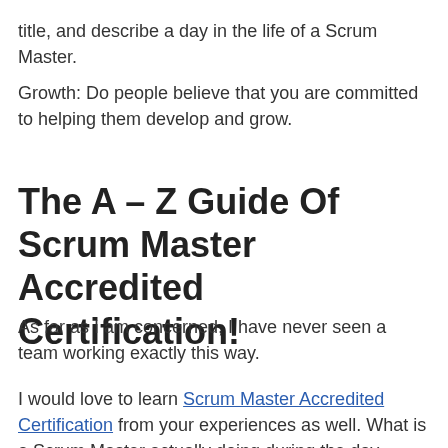title, and describe a day in the life of a Scrum Master.
Growth: Do people believe that you are committed to helping them develop and grow.
The A – Z Guide Of Scrum Master Accredited Certification!
As far as I am concerned, I have never seen a team working exactly this way.
I would love to learn Scrum Master Accredited Certification from your experiences as well. What is a Scrum Master actually doing during the day. These